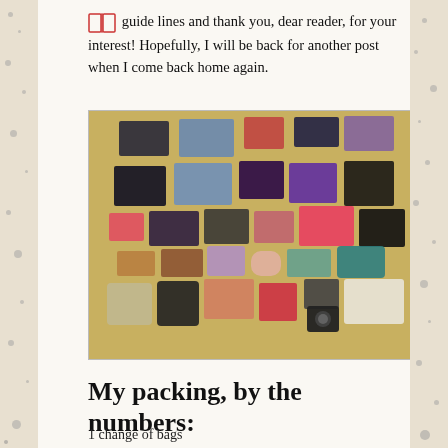guide lines and thank you, dear reader, for your interest! Hopefully, I will be back for another post when I come back home again.
[Figure (photo): Flat lay photo of packed travel items including clothes, shoes, accessories, bags, and a camera spread out on a wooden floor]
My packing, by the numbers:
1 change of bags